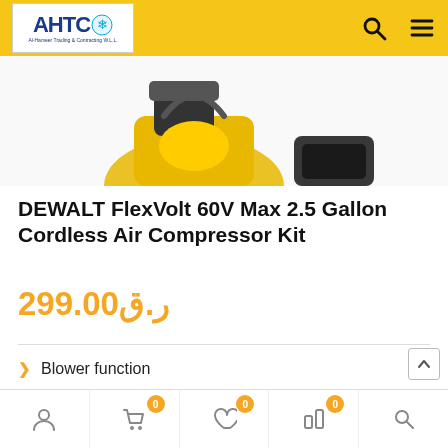AHTC — Al-Hameer Trading & Contracting W.L.L.
[Figure (photo): Product image of DEWALT FlexVolt 60V Max 2.5 Gallon Cordless Air Compressor Kit shown partially cropped at top]
DEWALT FlexVolt 60V Max 2.5 Gallon Cordless Air Compressor Kit
299.00 ر.ق
Blower function
Durable
Compact design
Bottom navigation bar with cart (0), wishlist (0), account icons